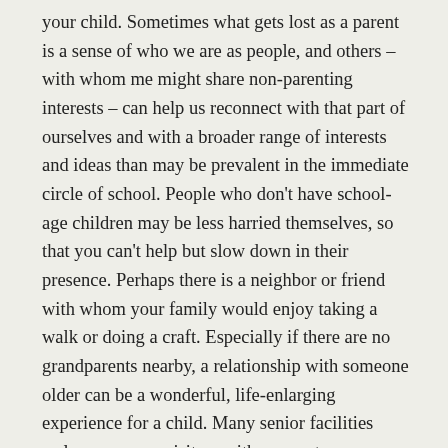your child. Sometimes what gets lost as a parent is a sense of who we are as people, and others – with whom me might share non-parenting interests – can help us reconnect with that part of ourselves and with a broader range of interests and ideas than may be prevalent in the immediate circle of school. People who don't have school-age children may be less harried themselves, so that you can't help but slow down in their presence. Perhaps there is a neighbor or friend with whom your family would enjoy taking a walk or doing a craft. Especially if there are no grandparents nearby, a relationship with someone older can be a wonderful, life-enlarging experience for a child. Many senior facilities welcome young visitors with a parent. Performing a service, such as visiting a shut-in, is an excellent way to slow down, gain perspective and make a friend.